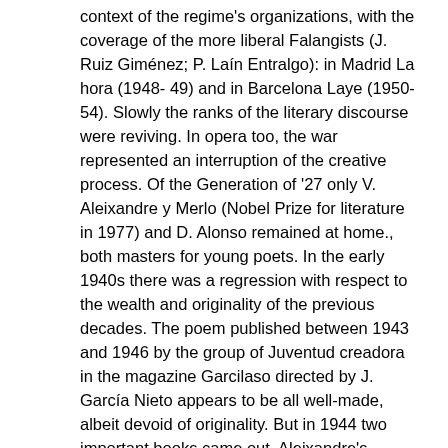context of the regime's organizations, with the coverage of the more liberal Falangists (J. Ruiz Giménez; P. Laín Entralgo): in Madrid La hora (1948- 49) and in Barcelona Laye (1950-54). Slowly the ranks of the literary discourse were reviving. In opera too, the war represented an interruption of the creative process. Of the Generation of '27 only V. Aleixandre y Merlo (Nobel Prize for literature in 1977) and D. Alonso remained at home., both masters for young poets. In the early 1940s there was a regression with respect to the wealth and originality of the previous decades. The poem published between 1943 and 1946 by the group of Juventud creadora in the magazine Garcilaso directed by J. García Nieto appears to be all well-made, albeit devoid of originality. But in 1944 two important books came out, Aleixandre's Sombra del Paraíso and D. Alonso's Hijos de la ira, which inaugurated a new trend, moving away from Garcilaso's formalism and opening up to existential problems. From 1944 to 1951 the Espadaña magazine was published in León, a magazine that became the spokesperson for this new existentialist trend. In 1952 an Antología Consultada de la joven poesía española was published which presented as the best poets